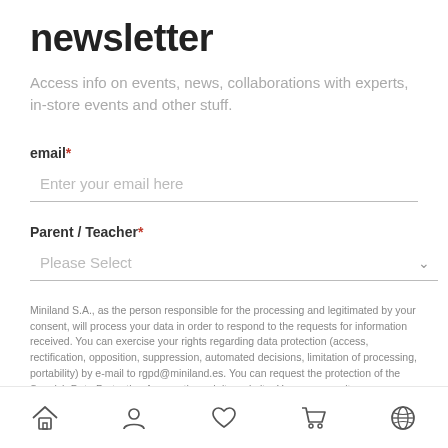newsletter
Access info on events, news, collaborations with experts, in-store events and other stuff.
email*
Enter your email here
Parent / Teacher*
Please Select
Miniland S.A., as the person responsible for the processing and legitimated by your consent, will process your data in order to respond to the requests for information received. You can exercise your rights regarding data protection (access, rectification, opposition, suppression, automated decisions, limitation of processing, portability) by e-mail to rgpd@miniland.es. You can request the protection of the Spanish Data Protection Agency through its website. You can consult more information in our privacy
Home | User | Wishlist | Cart | Globe